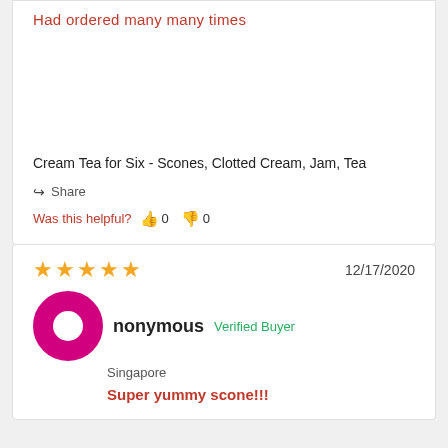Had ordered many many times
Cream Tea for Six - Scones, Clotted Cream, Jam, Tea
Share
Was this helpful? 0 0
12/17/2020
Anonymous Verified Buyer Singapore
Super yummy scone!!!